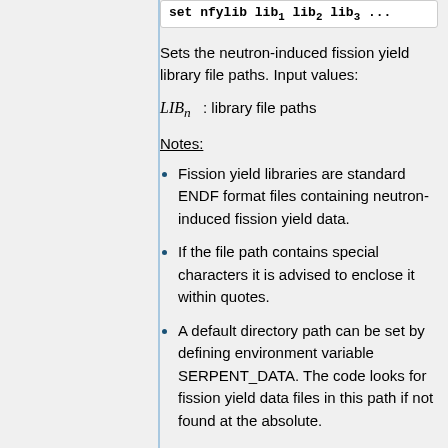[Figure (screenshot): Code box showing partial command text ending with subscript indices]
Sets the neutron-induced fission yield library file paths. Input values:
Notes:
Fission yield libraries are standard ENDF format files containing neutron-induced fission yield data.
If the file path contains special characters it is advised to enclose it within quotes.
A default directory path can be set by defining environment variable SERPENT_DATA. The code looks for fission yield data files in this path if not found at the absolute.
set ngamma